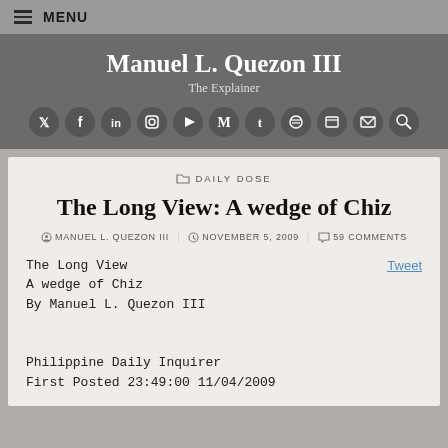≡ MENU
Manuel L. Quezon III
The Explainer
[Figure (other): Row of social media icons: Twitter, Facebook, LinkedIn, Instagram, YouTube, Medium, Tumblr, Spotify, unknown, Email, Search]
DAILY DOSE
The Long View: A wedge of Chiz
MANUEL L. QUEZON III  NOVEMBER 5, 2009  59 COMMENTS
The Long View
A wedge of Chiz
By Manuel L. Quezon III

Philippine Daily Inquirer
First Posted 23:49:00 11/04/2009